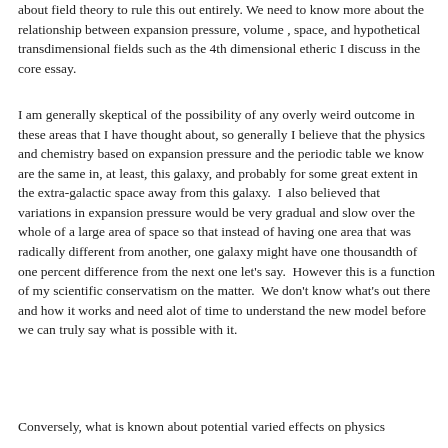about field theory to rule this out entirely. We need to know more about the relationship between expansion pressure, volume , space, and hypothetical transdimensional fields such as the 4th dimensional etheric I discuss in the core essay.
I am generally skeptical of the possibility of any overly weird outcome in these areas that I have thought about, so generally I believe that the physics and chemistry based on expansion pressure and the periodic table we know are the same in, at least, this galaxy, and probably for some great extent in the extra-galactic space away from this galaxy.  I also believed that variations in expansion pressure would be very gradual and slow over the whole of a large area of space so that instead of having one area that was radically different from another, one galaxy might have one thousandth of one percent difference from the next one let's say.  However this is a function of my scientific conservatism on the matter.  We don't know what's out there and how it works and need alot of time to understand the new model before we can truly say what is possible with it.
Conversely, what is known about potential varied effects on physics...